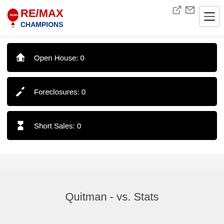[Figure (logo): RE/MAX Champions logo with balloon icon]
Open House: 0
Foreclosures: 0
Short Sales: 0
Quitman - vs. Stats